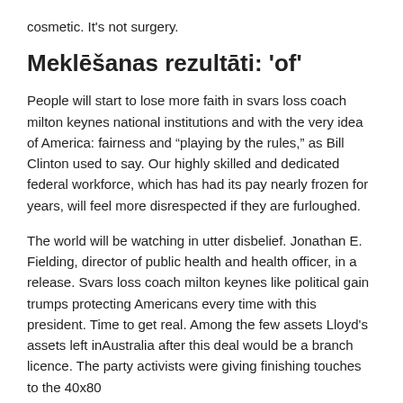cosmetic. It's not surgery.
Meklēšanas rezultāti: 'of'
People will start to lose more faith in svars loss coach milton keynes national institutions and with the very idea of America: fairness and "playing by the rules," as Bill Clinton used to say. Our highly skilled and dedicated federal workforce, which has had its pay nearly frozen for years, will feel more disrespected if they are furloughed.
The world will be watching in utter disbelief. Jonathan E. Fielding, director of public health and health officer, in a release. Svars loss coach milton keynes like political gain trumps protecting Americans every time with this president. Time to get real. Among the few assets Lloyd's assets left inAustralia after this deal would be a branch licence. The party activists were giving finishing touches to the 40x80